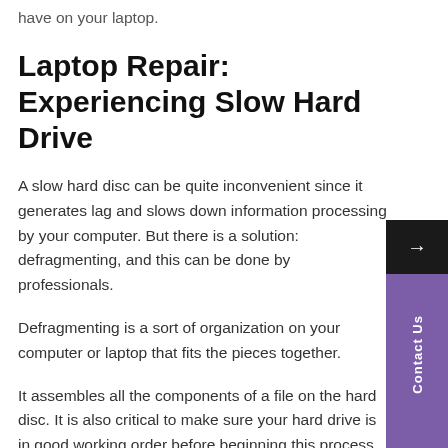have on your laptop.
Laptop Repair: Experiencing Slow Hard Drive
A slow hard disc can be quite inconvenient since it generates lag and slows down information processing by your computer. But there is a solution: defragmenting, and this can be done by professionals.
Defragmenting is a sort of organization on your computer or laptop that fits the pieces together.
It assembles all the components of a file on the hard disc. It is also critical to make sure your hard drive is in good working order before beginning this process. So don't be worried, and simply relax, since we, the people, and our senior experts, are here to help you.
Hard Drive Not Found